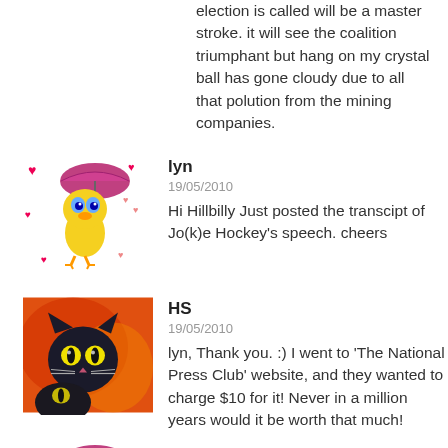election is called will be a master stroke. it will see the coalition triumphant but hang on my crystal ball has gone cloudy due to all that polution from the mining companies.
[Figure (illustration): Tweety Bird cartoon character holding a pink umbrella, surrounded by red hearts]
lyn
19/05/2010
Hi Hillbilly Just posted the transcipt of Jo(k)e Hockey's speech. cheers
[Figure (illustration): Painting or illustration of a black cat with colorful background]
HS
19/05/2010
lyn, Thank you. :) I went to 'The National Press Club' website, and they wanted to charge $10 for it! Never in a million years would it be worth that much!
[Figure (illustration): Tweety Bird cartoon character holding a pink umbrella, surrounded by red hearts]
lyn
19/05/2010
Hi Bilko good to see your happy face. Does your